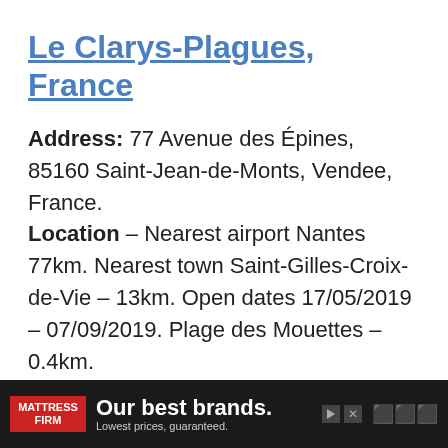Le Clarys-Plagues, France
Address: 77 Avenue des Épines, 85160 Saint-Jean-de-Monts, Vendee, France. Location – Nearest airport Nantes 77km. Nearest town Saint-Gilles-Croix-de-Vie – 13km. Open dates 17/05/2019 – 07/09/2019. Plage des Mouettes – 0.4km.
[Figure (other): Mattress Firm advertisement banner: 'Our best brands. Lowest prices, guaranteed.']